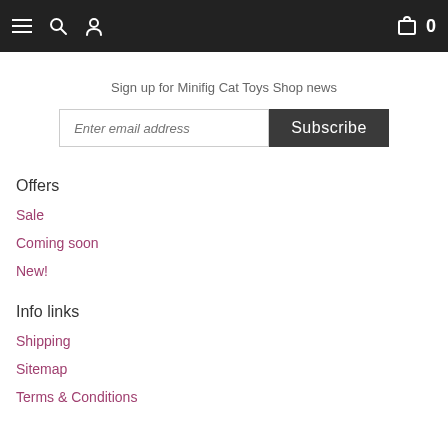Navigation bar with hamburger menu, search, user, cart icons and count 0
Sign up for Minifig Cat Toys Shop news
Enter email address | Subscribe
Offers
Sale
Coming soon
New!
Info links
Shipping
Sitemap
Terms & Conditions